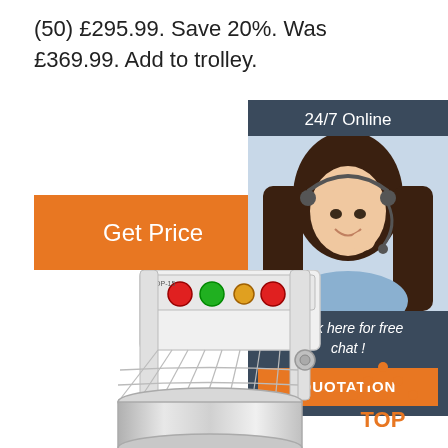(50) £295.99. Save 20%. Was £369.99. Add to trolley.
[Figure (screenshot): Orange 'Get Price' button on the left, and a commercial advertisement panel on the right with a woman wearing a headset, '24/7 Online' header, 'Click here for free chat!' text, and an orange 'QUOTATION' button. Below is an image of a commercial spiral dough mixer machine with a stainless steel bowl and wire guard. Bottom right shows an orange 'TOP' icon with dots forming a triangle above the text.]